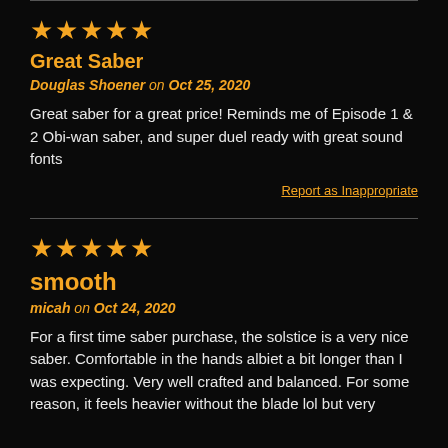[Figure (other): 5 orange stars rating]
Great Saber
Douglas Shoener on Oct 25, 2020
Great saber for a great price! Reminds me of Episode 1 & 2 Obi-wan saber, and super duel ready with great sound fonts
Report as Inappropriate
[Figure (other): 5 orange stars rating]
smooth
micah on Oct 24, 2020
For a first time saber purchase, the solstice is a very nice saber. Comfortable in the hands albiet a bit longer than I was expecting. Very well crafted and balanced. For some reason, it feels heavier without the blade lol but very